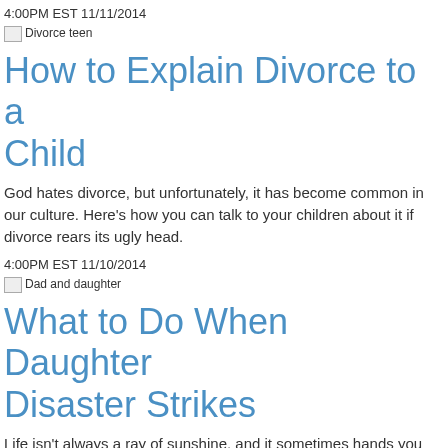4:00PM EST 11/11/2014
[Figure (photo): Broken image placeholder labeled 'Divorce teen']
How to Explain Divorce to a Child
God hates divorce, but unfortunately, it has become common in our culture. Here's how you can talk to your children about it if divorce rears its ugly head.
4:00PM EST 11/10/2014
[Figure (photo): Broken image placeholder labeled 'Dad and daughter']
What to Do When Daughter Disaster Strikes
Life isn't always a ray of sunshine, and it sometimes hands you some unexpected twists when it comes to your 'baby girl.' Here's how to deal with such adversity.